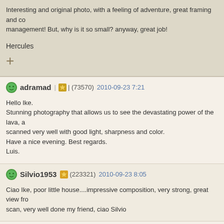Interesting and original photo, with a feeling of adventure, great framing and co... management! But, why is it so small? anyway, great job!
Hercules
+
adramad | ★ | (73570) 2010-09-23 7:21
Hello Ike.
Stunning photography that allows us to see the devastating power of the lava, a... scanned very well with good light, sharpness and color.
Have a nice evening. Best regards.
Luis.
Silvio1953 | ★ | (223321) 2010-09-23 8:05
Ciao Ike, poor little house....impressive composition, very strong, great view fro... scan, very well done my friend, ciao Silvio
AKITA | ★ | (15125) 2010-09-23 14:31
dear Ike,
wow,